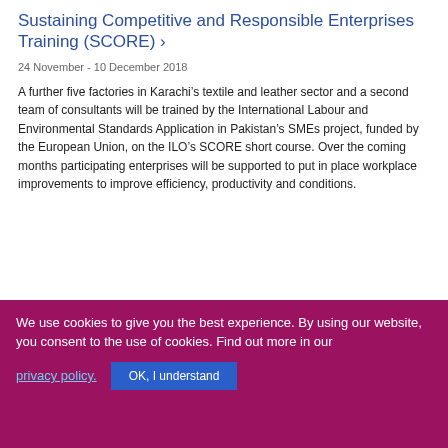Sustaining Competitive and Responsible Enterprises Training (SCORE) >
24 November - 10 December 2018
A further five factories in Karachi’s textile and leather sector and a second team of consultants will be trained by the International Labour and Environmental Standards Application in Pakistan’s SMEs project, funded by the European Union, on the ILO’s SCORE short course. Over the coming months participating enterprises will be supported to put in place workplace improvements to improve efficiency, productivity and conditions.
We use cookies to give you the best experience. By using our website, you consent to the use of cookies. Find out more in our privacy policy. OK, I understand